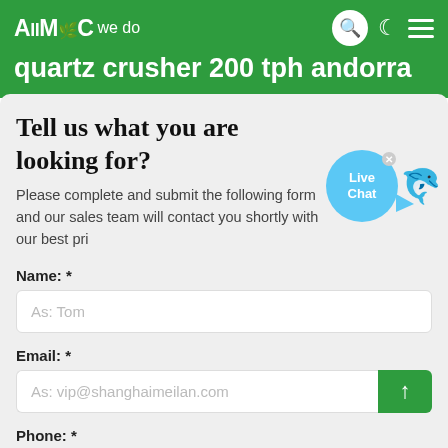AMC — All we do | quartz crusher 200 tph andorra
Tell us what you are looking for?
Please complete and submit the following form and our sales team will contact you shortly with our best price.
Name: *
As: Tom
Email: *
As: vip@shanghaimeilan.com
Phone: *
With Country Code
The Location of the Project: